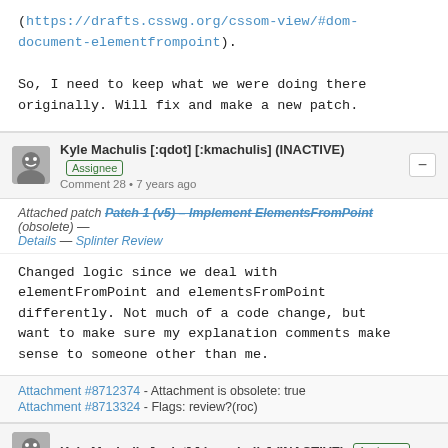(https://drafts.csswg.org/cssom-view/#dom-document-elementfrompoint).

So, I need to keep what we were doing there originally. Will fix and make a new patch.
Kyle Machulis [:qdot] [:kmachulis] (INACTIVE) Assignee
Comment 28 • 7 years ago
Attached patch Patch 1 (v5) - Implement ElementsFromPoint (obsolete) — Details — Splinter Review
Changed logic since we deal with elementFromPoint and elementsFromPoint differently. Not much of a code change, but want to make sure my explanation comments make sense to someone other than me.
Attachment #8712374 - Attachment is obsolete: true
Attachment #8713324 - Flags: review?(roc)
Kyle Machulis [:qdot] [:kmachulis] (INACTIVE)